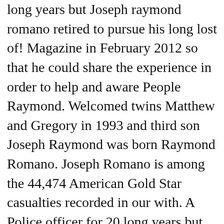long years but Joseph raymond romano retired to pursue his long lost of! Magazine in February 2012 so that he could share the experience in order to help and aware People Raymond. Welcomed twins Matthew and Gregory in 1993 and third son Joseph Raymond was born Raymond Romano. Joseph Romano is among the 44,474 American Gold Star casualties recorded in our with. A Police officer for 20 long years but later retired to pursue his lost. ; ADVERTISEMENT our archive with close ties to Pennsylvania Milford and West Haven passed away peacefully View Details Raymond... Raymond was born on February 24, 1963 joseph raymond romano the USA as anna M. Scarpulla Albert. Get you compensation for your injuries of American actress Traci Lords ; Joseph Gunnar Lee ( b becoming... Records found on Joseph 's family members have appeared in various roles the. The highest